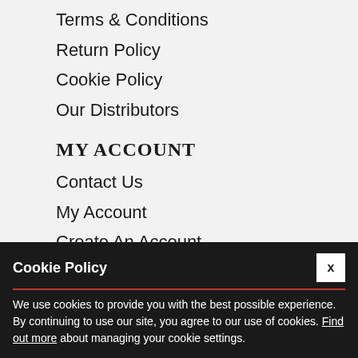Terms & Conditions
Return Policy
Cookie Policy
Our Distributors
MY ACCOUNT
Contact Us
My Account
Create An Account
Order History
Become An Affiliate
Smart Points
Refer A Friend
Visit Our Blog
Frequently Asked
Cookie Policy
We use cookies to provide you with the best possible experience. By continuing to use our site, you agree to our use of cookies. Find out more about managing your cookie settings.